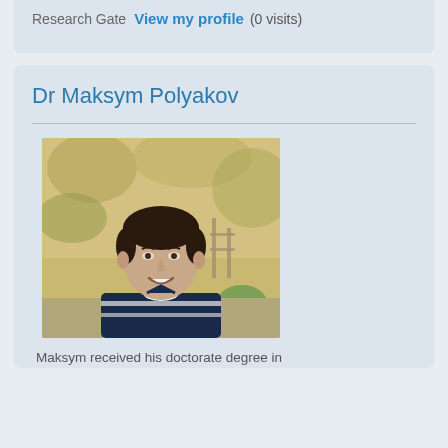ResearcherID  View my profile
Research Gate  View my profile  (0 visits)
Dr Maksym Polyakov
[Figure (photo): Portrait photo of Dr Maksym Polyakov, a middle-aged man with dark hair, smiling, wearing a dark striped polo shirt, photographed outdoors with trees in the background.]
Maksym received his doctorate degree in